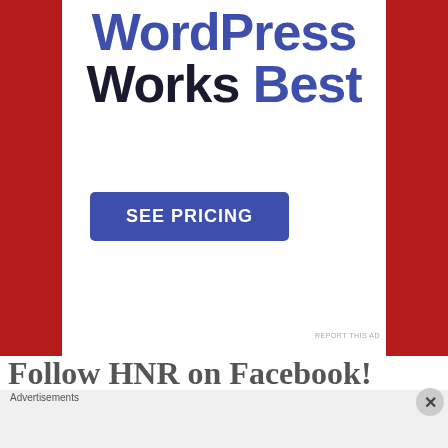WordPress Works Best
SEE PRICING
REPORT THIS AD
Follow HNR on Facebook!
Advertisements
[Figure (screenshot): DuckDuckGo advertisement banner: orange background with text 'Search, browse, and email with more privacy. All in One Free App' and DuckDuckGo duck logo on dark background]
[Figure (illustration): Close/dismiss button (X icon in gray circle) in bottom right corner]